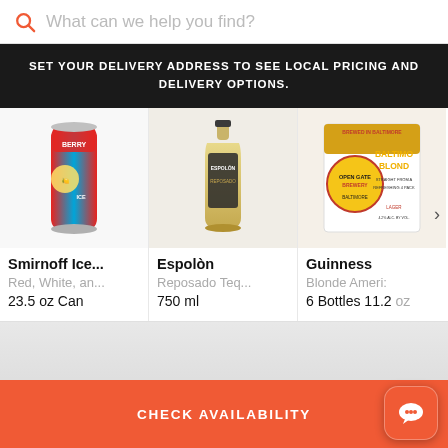[Figure (screenshot): Search bar with magnifying glass icon and placeholder text 'What can we help you find?']
SET YOUR DELIVERY ADDRESS TO SEE LOCAL PRICING AND DELIVERY OPTIONS.
[Figure (screenshot): Product carousel showing three alcohol products: Smirnoff Ice (Red, White, and... 23.5 oz Can), Espolòn (Reposado Teq... 750 ml), Guinness (Blonde Ameri... 6 Bottles 11.2 oz)]
CHECK AVAILABILITY